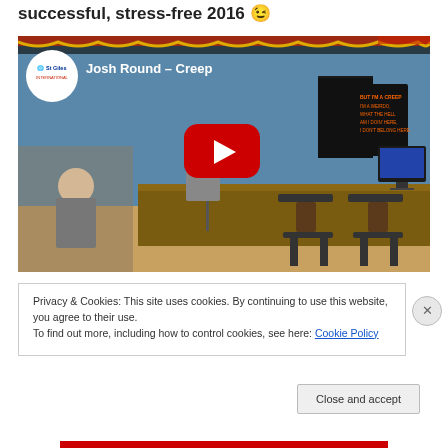successful, stress-free 2016 😉
[Figure (screenshot): YouTube video thumbnail showing a man singing karaoke at St Giles with the title 'Josh Round – Creep'. The room is decorated with Christmas tinsel. A large red YouTube play button is in the center.]
Privacy & Cookies: This site uses cookies. By continuing to use this website, you agree to their use.
To find out more, including how to control cookies, see here: Cookie Policy
Close and accept